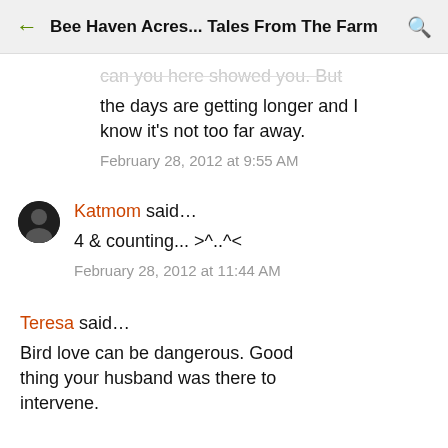Bee Haven Acres... Tales From The Farm
the days are getting longer and I know it's not too far away.
February 28, 2012 at 9:55 AM
Katmom said...
4 & counting... >^..^<
February 28, 2012 at 11:44 AM
Teresa said...
Bird love can be dangerous. Good thing your husband was there to intervene.